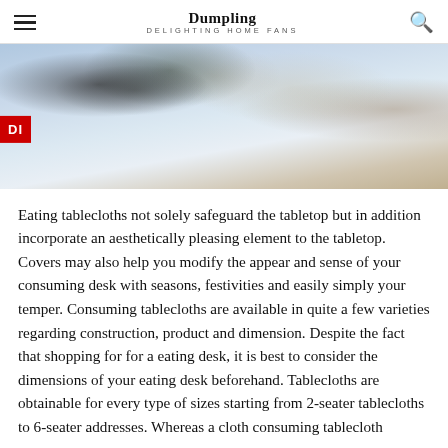Dumpling DELIGHTING HOME FANS
[Figure (photo): A table setting with a white tablecloth, berries, greenery, and a decorative bowl, with a red tag partially visible on the left side.]
Eating tablecloths not solely safeguard the tabletop but in addition incorporate an aesthetically pleasing element to the tabletop. Covers may also help you modify the appear and sense of your consuming desk with seasons, festivities and easily simply your temper. Consuming tablecloths are available in quite a few varieties regarding construction, product and dimension. Despite the fact that shopping for for a eating desk, it is best to consider the dimensions of your eating desk beforehand. Tablecloths are obtainable for every type of sizes starting from 2-seater tablecloths to 6-seater addresses. Whereas a cloth consuming tablecloth